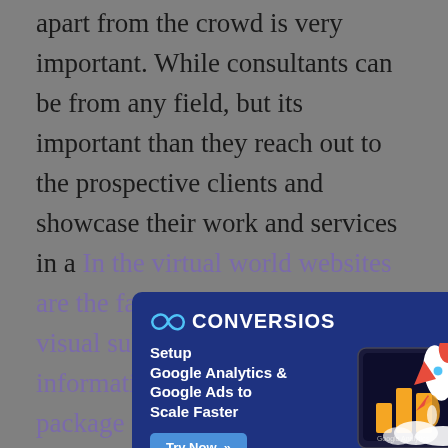apart from the crowd is very important. While consultants can be from any field, but its important than they reach out to the prospective clients and showcase their work and services in a [virtual world — websites are the face of any … and … but you … information wrapped up in a … package that you use to attract and win] clients. To win over clients and stand out from the crowd, you need to create a stunning website that showcases your work in an appealing way.
[Figure (infographic): Conversios advertisement popup with dark blue background. Shows the Conversios logo (infinity symbol + CONVERSIOS text), headline 'Setup Google Analytics & Google Ads to Scale Faster', a 'Try Now' button, and an illustration of a monitor displaying Google Analytics and Google Ads logos with a rocket launching from it.]